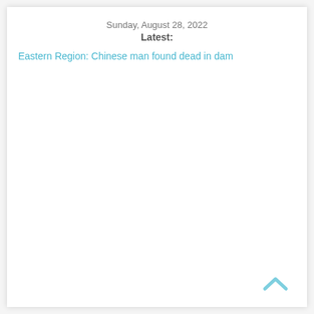Sunday, August 28, 2022
Latest:
Eastern Region: Chinese man found dead in dam